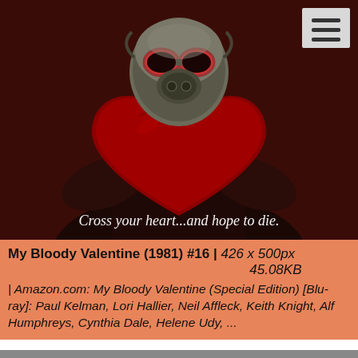[Figure (photo): Movie poster for My Bloody Valentine (1981): a person in a gas mask with skull-like appearance holds a large red heart, with the tagline 'Cross your heart...and hope to die.' at the bottom. A menu icon (hamburger) is visible in the top-right corner.]
My Bloody Valentine (1981) #16 | 426 x 500px 45.08KB | Amazon.com: My Bloody Valentine (Special Edition) [Blu-ray]: Paul Kelman, Lori Hallier, Neil Affleck, Keith Knight, Alf Humphreys, Cynthia Dale, Helene Udy, ...